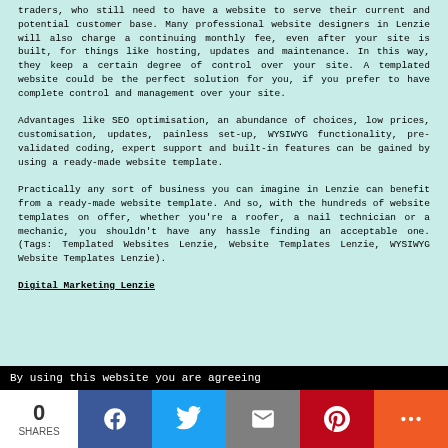traders, who still need to have a website to serve their current and potential customer base. Many professional website designers in Lenzie will also charge a continuing monthly fee, even after your site is built, for things like hosting, updates and maintenance. In this way, they keep a certain degree of control over your site. A templated website could be the perfect solution for you, if you prefer to have complete control and management over your site.
Advantages like SEO optimisation, an abundance of choices, low prices, customisation, updates, painless set-up, WYSIWYG functionality, pre-validated coding, expert support and built-in features can be gained by using a ready-made website template.
Practically any sort of business you can imagine in Lenzie can benefit from a ready-made website template. And so, with the hundreds of website templates on offer, whether you're a roofer, a nail technician or a mechanic, you shouldn't have any hassle finding an acceptable one. (Tags: Templated Websites Lenzie, Website Templates Lenzie, WYSIWYG Website Templates Lenzie).
Digital Marketing Lenzie
By using this website you are agreeing